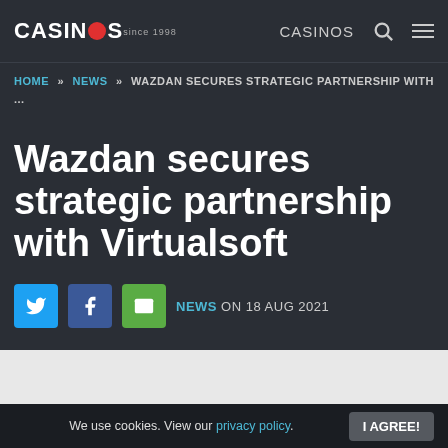CASINOS since 1998 | CASINOS
HOME » NEWS » WAZDAN SECURES STRATEGIC PARTNERSHIP WITH ...
Wazdan secures strategic partnership with Virtualsoft
NEWS ON 18 AUG 2021
[Figure (photo): Teal/blue colored image strip at the bottom of the article area]
We use cookies. View our privacy policy. I AGREE!